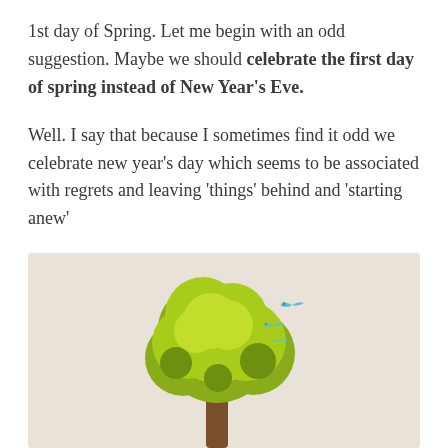1st day of Spring. Let me begin with an odd suggestion. Maybe we should celebrate the first day of spring instead of New Year's Eve.
Well. I say that because I sometimes find it odd we celebrate new year's day which seems to be associated with regrets and leaving 'things' behind and 'starting anew'
[Figure (illustration): An illustration of a green leafy tree with brown trunk on a beige/tan background, with small blue birds flying near the upper right of the tree.]